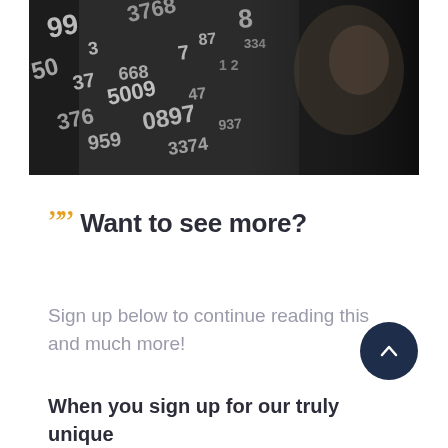[Figure (photo): Black and white dramatic photo of a man in a dark suit looking at floating numbers and digits. The numbers appear on a reflective or transparent surface in front of him. The scene is cinematic and moody.]
Want to see more?
Sign up below to continue reading this and much more!
When you sign up for our truly unique